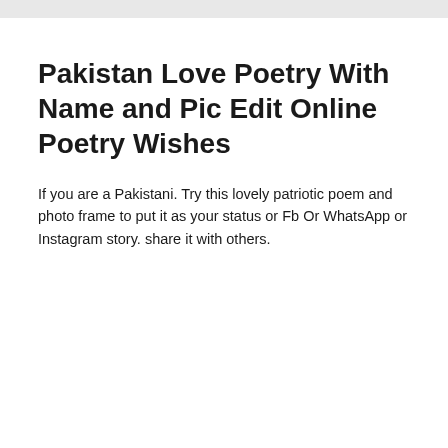Pakistan Love Poetry With Name and Pic Edit Online Poetry Wishes
If you are a Pakistani. Try this lovely patriotic poem and photo frame to put it as your status or Fb Or WhatsApp or Instagram story. share it with others.